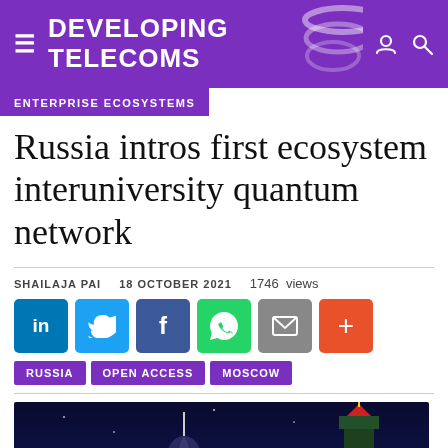Developing Telecoms
ENTERPRISE ECOSYSTEMS
Russia intros first ecosystem interuniversity quantum network
SHAILAJA PAI   18 OCTOBER 2021   1746 views
[Figure (infographic): Social share buttons: LinkedIn, Twitter, Facebook, WhatsApp, Email, More]
RUSSIA
OPEN ACCESS
MOSCOW
[Figure (photo): Night photo of Moscow Kremlin towers against a dark blue sky]